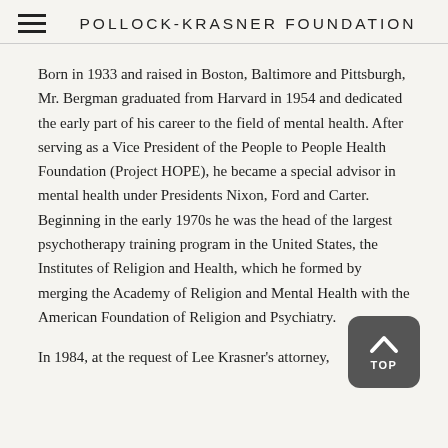POLLOCK-KRASNER FOUNDATION
Born in 1933 and raised in Boston, Baltimore and Pittsburgh, Mr. Bergman graduated from Harvard in 1954 and dedicated the early part of his career to the field of mental health. After serving as a Vice President of the People to People Health Foundation (Project HOPE), he became a special advisor in mental health under Presidents Nixon, Ford and Carter. Beginning in the early 1970s he was the head of the largest psychotherapy training program in the United States, the Institutes of Religion and Health, which he formed by merging the Academy of Religion and Mental Health with the American Foundation of Religion and Psychiatry.
In 1984, at the request of Lee Krasner's attorney,